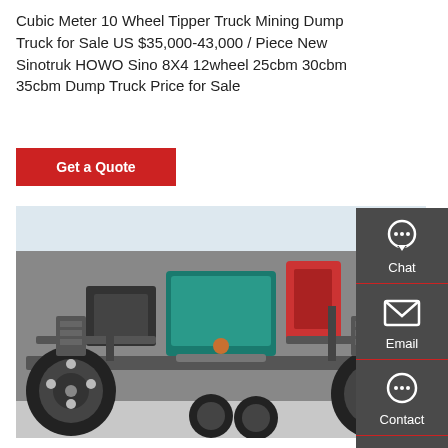Cubic Meter 10 Wheel Tipper Truck Mining Dump Truck for Sale US $35,000-43,000 / Piece New Sinotruk HOWO Sino 8X4 12wheel 25cbm 30cbm 35cbm Dump Truck Price for Sale
Get a Quote
[Figure (photo): Underside/chassis view of a dump truck showing axles, drive shaft, suspension, tires, and teal-colored gearbox/engine components from below]